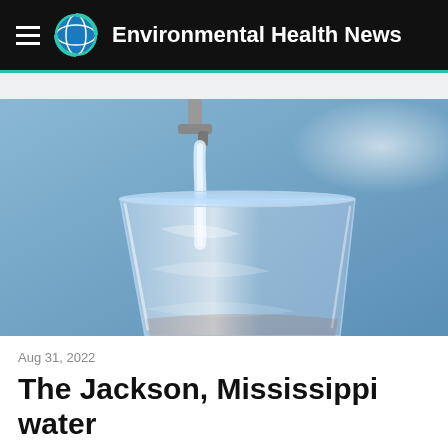Environmental Health News
[Figure (photo): Water being poured from a faucet or tap into a clear glass against a blue background]
Aug 31, 2022
The Jackson, Mississippi water